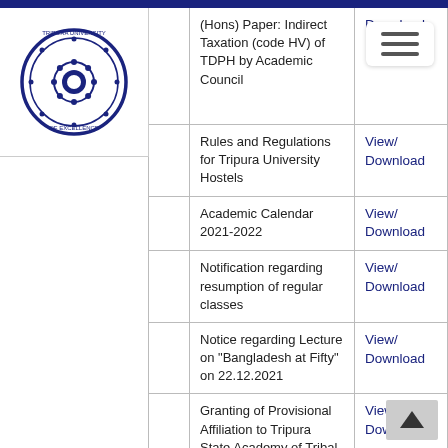[Figure (logo): Tripura University logo - circular blue seal with text]
|  | Document | Action |
| --- | --- | --- |
|  | (Hons) Paper: Indirect Taxation (code HV) of TDPH by Academic Council | Download |
|  | Rules and Regulations for Tripura University Hostels | View/ Download |
|  | Academic Calendar 2021-2022 | View/ Download |
|  | Notification regarding resumption of regular classes | View/ Download |
|  | Notice regarding Lecture on "Bangladesh at Fifty" on 22.12.2021 | View/ Download |
|  | Granting of Provisional Affiliation to Tripura State Academy of Tribal Culture, Suparibabgan | View/ Download |
|  | Advisory and Do's and Don'ts on Cold and Frost from National Disaster Management Authority, New Delhi | View/ Download |
|  | Office Order regarding charge of Director, College Development... | View/ Download |